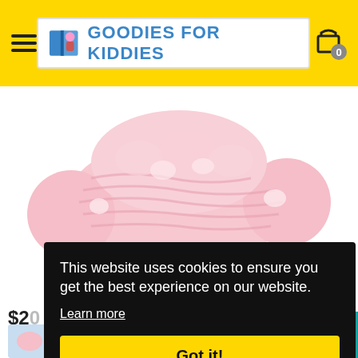Goodies For Kiddies — navigation header with hamburger menu and cart icon
[Figure (photo): Pink chunky knit yarn/wool skein on white background]
$20
[Figure (photo): Small thumbnail image at bottom left]
This website uses cookies to ensure you get the best experience on our website.
Learn more
Got it!